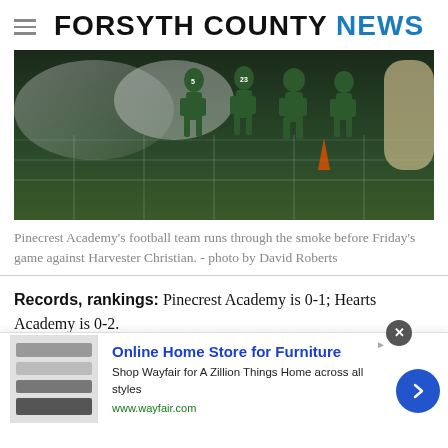FORSYTH COUNTY NEWS
[Figure (photo): Pinecrest Academy football team running through smoke on field before game]
Pinecrest Academy's football team runs through the smoke before Friday's game against Harvester Christian. - photo by David Roberts
Records, rankings: Pinecrest Academy is 0-1; Hearts Academy is 0-2.
Series history: These two teams have never met.
Last meeting: N/A